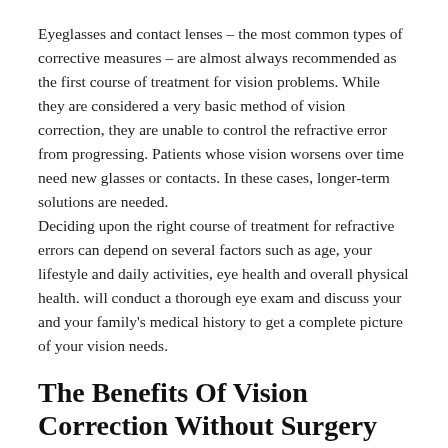Eyeglasses and contact lenses – the most common types of corrective measures – are almost always recommended as the first course of treatment for vision problems. While they are considered a very basic method of vision correction, they are unable to control the refractive error from progressing. Patients whose vision worsens over time need new glasses or contacts. In these cases, longer-term solutions are needed.
Deciding upon the right course of treatment for refractive errors can depend on several factors such as age, your lifestyle and daily activities, eye health and overall physical health. will conduct a thorough eye exam and discuss your and your family's medical history to get a complete picture of your vision needs.
The Benefits Of Vision Correction Without Surgery
When eye surgery is performed and the corneal tissue – or the cornea itself – is repaired or reshaped, it is generally permanent. Surgical procedures are matters of a serious nature and are often the last resort, when all other vision correction options have been exhausted. That's